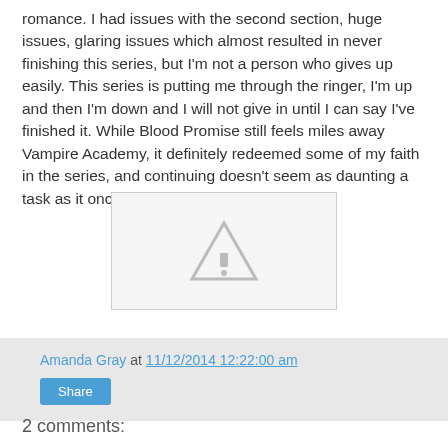romance. I had issues with the second section, huge issues, glaring issues which almost resulted in never finishing this series, but I'm not a person who gives up easily. This series is putting me through the ringer, I'm up and then I'm down and I will not give in until I can say I've finished it. While Blood Promise still feels miles away Vampire Academy, it definitely redeemed some of my faith in the series, and continuing doesn't seem as daunting a task as it once did.
[Figure (other): Broken image placeholder with warning triangle icon]
Amanda Gray at 11/12/2014 12:22:00 am
Share
2 comments: